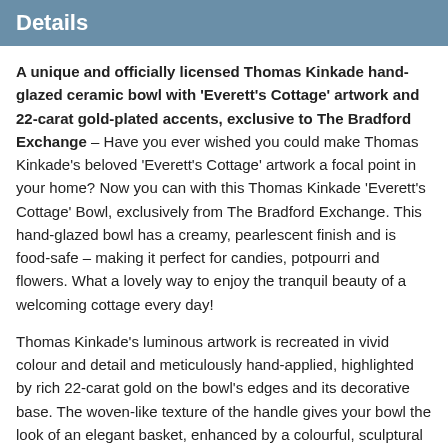Details
A unique and officially licensed Thomas Kinkade hand-glazed ceramic bowl with 'Everett's Cottage' artwork and 22-carat gold-plated accents, exclusive to The Bradford Exchange – Have you ever wished you could make Thomas Kinkade's beloved 'Everett's Cottage' artwork a focal point in your home? Now you can with this Thomas Kinkade 'Everett's Cottage' Bowl, exclusively from The Bradford Exchange. This hand-glazed bowl has a creamy, pearlescent finish and is food-safe – making it perfect for candies, potpourri and flowers. What a lovely way to enjoy the tranquil beauty of a welcoming cottage every day!
Thomas Kinkade's luminous artwork is recreated in vivid colour and detail and meticulously hand-applied, highlighted by rich 22-carat gold on the bowl's edges and its decorative base. The woven-like texture of the handle gives your bowl the look of an elegant basket, enhanced by a colourful, sculptural butterfly that brightly echoes the artwork. This must-own collectable bowl is sure to be a centerpiece in any Thomas Kinkade home décor, and